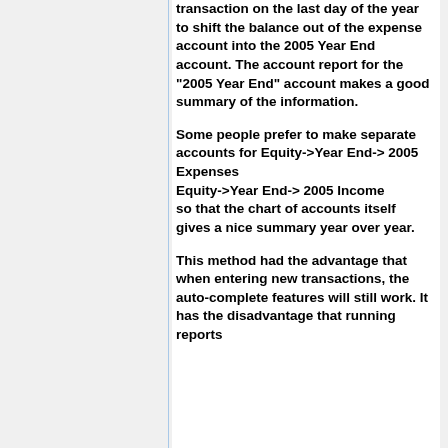transaction on the last day of the year to shift the balance out of the expense account into the 2005 Year End account. The account report for the "2005 Year End" account makes a good summary of the information.
Some people prefer to make separate accounts for Equity->Year End-> 2005 Expenses
Equity->Year End-> 2005 Income
so that the chart of accounts itself gives a nice summary year over year.
This method had the advantage that when entering new transactions, the auto-complete features will still work. It has the disadvantage that running reports